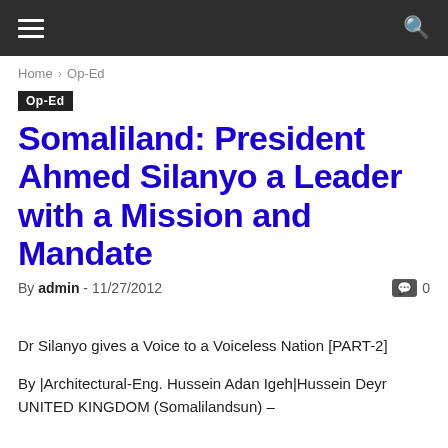≡   🔍
Home › Op-Ed
Op-Ed
Somaliland: President Ahmed Silanyo a Leader with a Mission and Mandate
By admin - 11/27/2012   💬 0
Dr Silanyo gives a Voice to a Voiceless Nation [PART-2]
By |Architectural-Eng. Hussein Adan Igeh|Hussein Deyr
UNITED KINGDOM (Somalilandsun) –